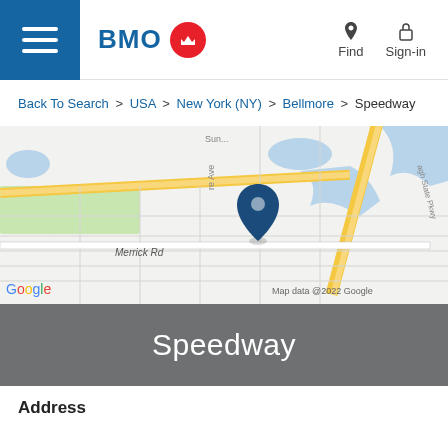BMO | Find | Sign-in
Back To Search > USA > New York (NY) > Bellmore > Speedway
[Figure (map): Google Map showing pin location near Merrick Rd in Bellmore, NY. Shows surrounding streets, Merrick Rd label, Sunrise Highway, state parkway, and blue water features. Map data @2022 Google.]
Speedway
Address